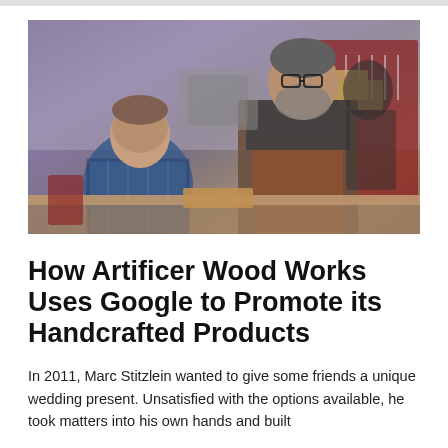[Figure (photo): Two men in a woodworking workshop. One wears a plaid shirt and is seated, the other stands wearing glasses and a leather apron. Workshop tools and wood pieces visible in the background.]
How Artificer Wood Works Uses Google to Promote its Handcrafted Products
In 2011, Marc Stitzlein wanted to give some friends a unique wedding present. Unsatisfied with the options available, he took matters into his own hands and built